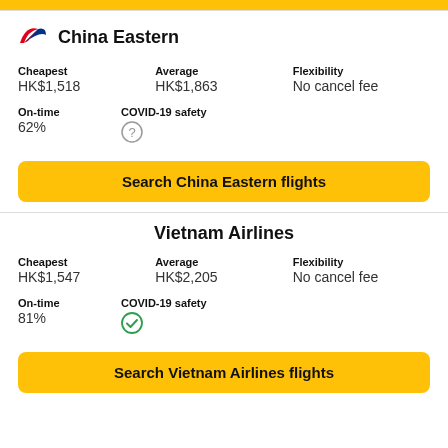China Eastern
| Cheapest | Average | Flexibility |
| --- | --- | --- |
| HK$1,518 | HK$1,863 | No cancel fee |
| On-time | COVID-19 safety |
| --- | --- |
| 62% | ? |
Search China Eastern flights
Vietnam Airlines
| Cheapest | Average | Flexibility |
| --- | --- | --- |
| HK$1,547 | HK$2,205 | No cancel fee |
| On-time | COVID-19 safety |
| --- | --- |
| 81% | ✓ |
Search Vietnam Airlines flights